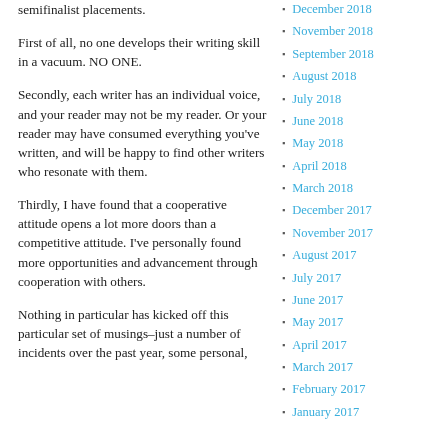semifinalist placements.
First of all, no one develops their writing skill in a vacuum. NO ONE.
Secondly, each writer has an individual voice, and your reader may not be my reader. Or your reader may have consumed everything you've written, and will be happy to find other writers who resonate with them.
Thirdly, I have found that a cooperative attitude opens a lot more doors than a competitive attitude. I've personally found more opportunities and advancement through cooperation with others.
Nothing in particular has kicked off this particular set of musings–just a number of incidents over the past year, some personal,
December 2018
November 2018
September 2018
August 2018
July 2018
June 2018
May 2018
April 2018
March 2018
December 2017
November 2017
August 2017
July 2017
June 2017
May 2017
April 2017
March 2017
February 2017
January 2017